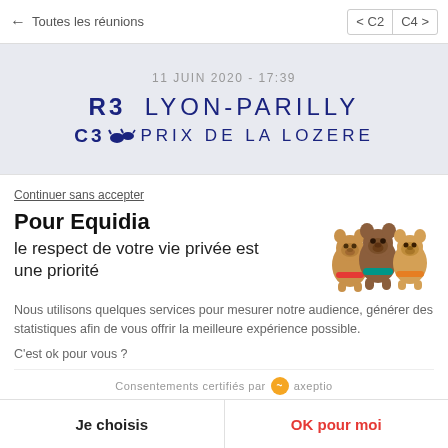← Toutes les réunions    < C2  C4 >
11 JUIN 2020 - 17:39
R3  LYON-PARILLY
C3  PRIX DE LA LOZERE
Continuer sans accepter
Pour Equidia
le respect de votre vie privée est une priorité
[Figure (illustration): Three cute cartoon bear/horse hybrid figures (cookie consent mascots) in brown tones with colored collars]
Nous utilisons quelques services pour mesurer notre audience, générer des statistiques afin de vous offrir la meilleure expérience possible.
C'est ok pour vous ?
Consentements certifiés par  axeptio
Je choisis
OK pour moi